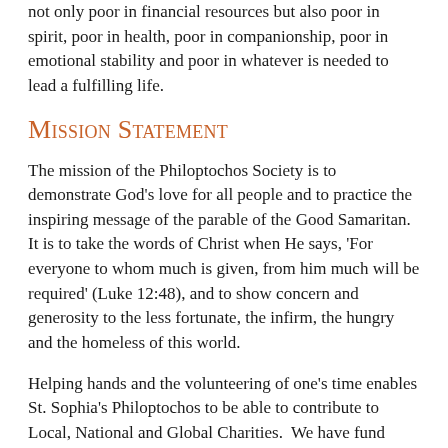not only poor in financial resources but also poor in spirit, poor in health, poor in companionship, poor in emotional stability and poor in whatever is needed to lead a fulfilling life.
Mission Statement
The mission of the Philoptochos Society is to demonstrate God's love for all people and to practice the inspiring message of the parable of the Good Samaritan. It is to take the words of Christ when He says, 'For everyone to whom much is given, from him much will be required' (Luke 12:48), and to show concern and generosity to the less fortunate, the infirm, the hungry and the homeless of this world.
Helping hands and the volunteering of one's time enables St. Sophia's Philoptochos to be able to contribute to Local, National and Global Charities.  We have fund raisers throughout the year to suport these worthy causes and also to be available when